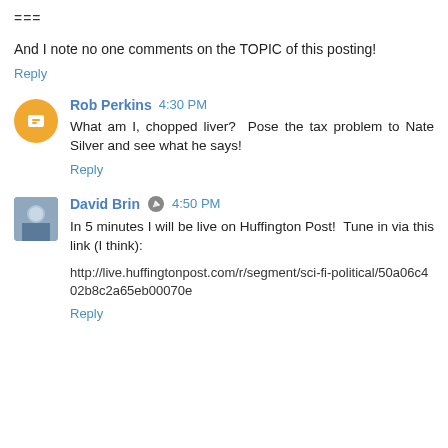===
And I note no one comments on the TOPIC of this posting!
Reply
Rob Perkins  4:30 PM
What am I, chopped liver? Pose the tax problem to Nate Silver and see what he says!
Reply
David Brin  4:50 PM
In 5 minutes I will be live on Huffington Post! Tune in via this link (I think):
http://live.huffingtonpost.com/r/segment/sci-fi-political/50a06c402b8c2a65eb00070e
Reply